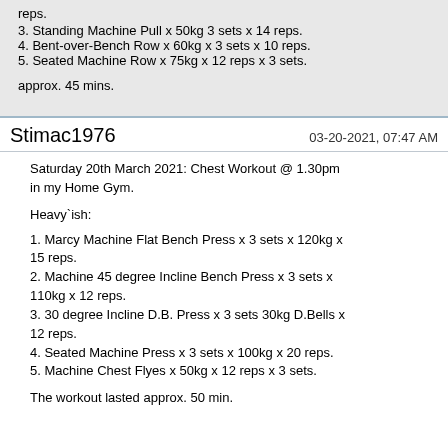reps.
3. Standing Machine Pull x 50kg 3 sets x 14 reps.
4. Bent-over-Bench Row x 60kg x 3 sets x 10 reps.
5. Seated Machine Row x 75kg x 12 reps x 3 sets.
approx. 45 mins.
Stimac1976    03-20-2021, 07:47 AM
Saturday 20th March 2021: Chest Workout @ 1.30pm in my Home Gym.
Heavy`ish:
1. Marcy Machine Flat Bench Press x 3 sets x 120kg x 15 reps.
2. Machine 45 degree Incline Bench Press x 3 sets x 110kg x 12 reps.
3. 30 degree Incline D.B. Press x 3 sets 30kg D.Bells x 12 reps.
4. Seated Machine Press x 3 sets x 100kg x 20 reps.
5. Machine Chest Flyes x 50kg x 12 reps x 3 sets.
The workout lasted approx. 50 min.